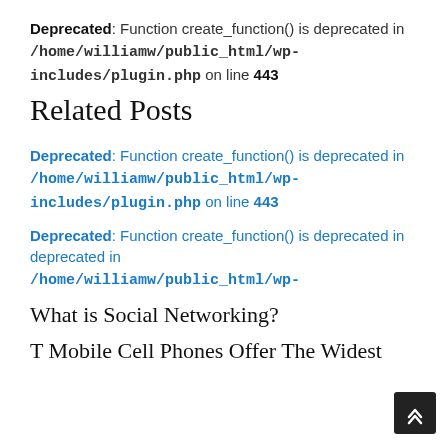Deprecated: Function create_function() is deprecated in /home/williamw/public_html/wp-includes/plugin.php on line 443
Related Posts
Deprecated: Function create_function() is deprecated in /home/williamw/public_html/wp-includes/plugin.php on line 443
Deprecated: Function create_function() is deprecated in /home/williamw/public_html/wp-includes/plugin.php on line 443
What is Social Networking?
T Mobile Cell Phones Offer The Widest